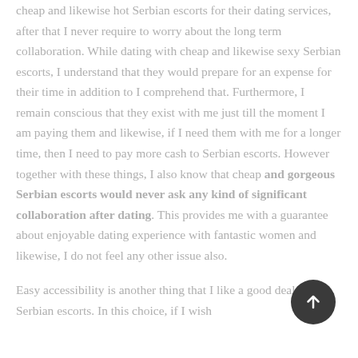cheap and likewise hot Serbian escorts for their dating services, after that I never require to worry about the long term collaboration. While dating with cheap and likewise sexy Serbian escorts, I understand that they would prepare for an expense for their time in addition to I comprehend that. Furthermore, I remain conscious that they exist with me just till the moment I am paying them and likewise, if I need them with me for a longer time, then I need to pay more cash to Serbian escorts. However together with these things, I also know that cheap and gorgeous Serbian escorts would never ask any kind of significant collaboration after dating. This provides me with a guarantee about enjoyable dating experience with fantastic women and likewise, I do not feel any other issue also.

Easy accessibility is another thing that I like a good deal about Serbian escorts. In this choice, if I wish